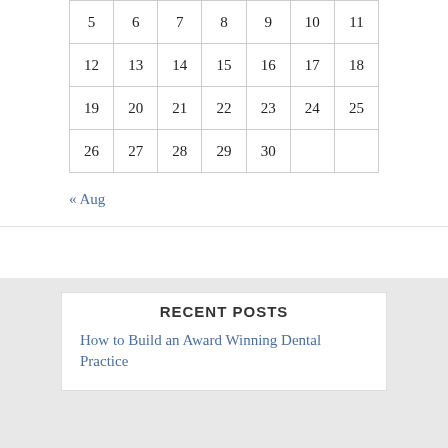| 5 | 6 | 7 | 8 | 9 | 10 | 11 |
| 12 | 13 | 14 | 15 | 16 | 17 | 18 |
| 19 | 20 | 21 | 22 | 23 | 24 | 25 |
| 26 | 27 | 28 | 29 | 30 |  |  |
« Aug
RECENT POSTS
How to Build an Award Winning Dental Practice